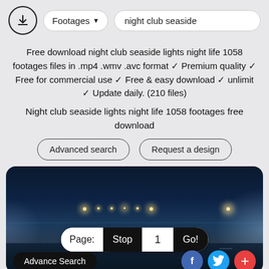Footages ▼   night club seaside
Free download night club seaside lights night life 1058 footages files in .mp4 .wmv .avc format ✓ Premium quality ✓ Free for commercial use ✓ Free & easy download ✓ unlimit ✓ Update daily. (210 files)
Night club seaside lights night life 1058 footages free download
Advanced search   Request a design
[Figure (photo): Night scene of a seaside with city lights reflecting on water, dark blue tones, street lights visible in the distance. Overlay controls show: Page: Stop 1 Go! and bottom bar with Advance Search button and social icons (Facebook, Twitter, plus).]